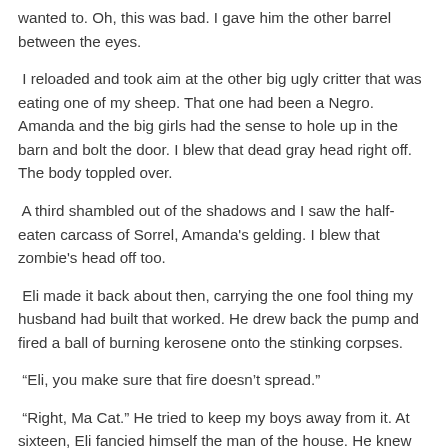wanted to. Oh, this was bad. I gave him the other barrel between the eyes.
I reloaded and took aim at the other big ugly critter that was eating one of my sheep. That one had been a Negro. Amanda and the big girls had the sense to hole up in the barn and bolt the door. I blew that dead gray head right off. The body toppled over.
A third shambled out of the shadows and I saw the half-eaten carcass of Sorrel, Amanda's gelding. I blew that zombie's head off too.
Eli made it back about then, carrying the one fool thing my husband had built that worked. He drew back the pump and fired a ball of burning kerosene onto the stinking corpses.
“Eli, you make sure that fire doesn’t spread.”
“Right, Ma Cat.” He tried to keep my boys away from it. At sixteen, Eli fancied himself the man of the house. He knew better than to sass me though, since I could still dust his